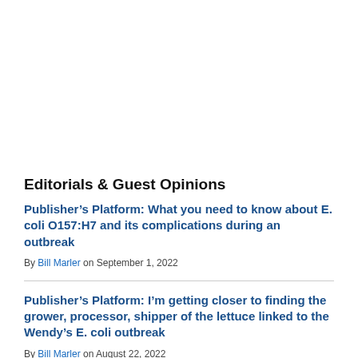Editorials & Guest Opinions
Publisher’s Platform: What you need to know about E. coli O157:H7 and its complications during an outbreak
By Bill Marler on September 1, 2022
Publisher’s Platform: I’m getting closer to finding the grower, processor, shipper of the lettuce linked to the Wendy’s E. coli outbreak
By Bill Marler on August 22, 2022